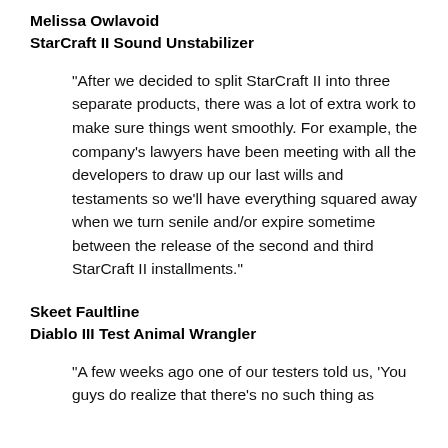Melissa Owlavoid
StarCraft II Sound Unstabilizer
"After we decided to split StarCraft II into three separate products, there was a lot of extra work to make sure things went smoothly. For example, the company's lawyers have been meeting with all the developers to draw up our last wills and testaments so we'll have everything squared away when we turn senile and/or expire sometime between the release of the second and third StarCraft II installments."
Skeet Faultline
Diablo III Test Animal Wrangler
"A few weeks ago one of our testers told us, 'You guys do realize that there's no such thing as